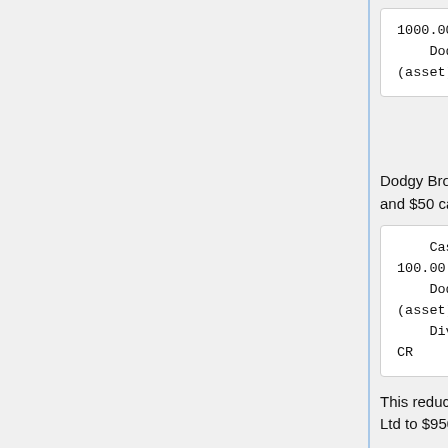1000.00 CR
    Dodgy Brothers Ltd
(asset) 1000.00 DR
Dodgy Brothers Ltd pays $50 dividend and $50 capital return
Cash at bank (asset) 100.00 DR
    Dodgy Brothers Ltd
(asset) 50.00 CR
    Dividends (income) 50.00 CR
This reduces the cost of Dodgy Brothers Ltd to $950.
Q: I exercised ISOs (Incentive Stock Options) for a nonpublic company, valuable only on paper. How is this represented